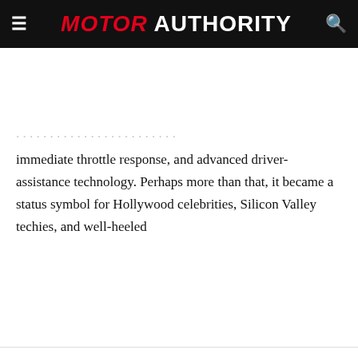MOTOR AUTHORITY
immediate throttle response, and advanced driver-assistance technology. Perhaps more than that, it became a status symbol for Hollywood celebrities, Silicon Valley techies, and well-heeled
[Figure (screenshot): Video widget showing a white car on a racing track (Nürburgring), with a play button overlay. Video title: 2022 Mercedes-Benz CLS-Class spy video. Motor Authority watermark visible.]